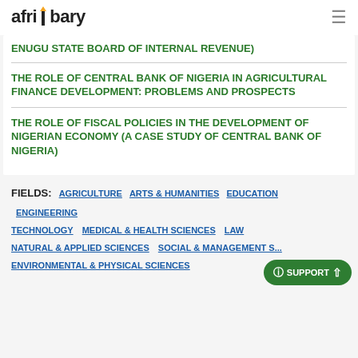afribary
ENUGU STATE BOARD OF INTERNAL REVENUE)
THE ROLE OF CENTRAL BANK OF NIGERIA IN AGRICULTURAL FINANCE DEVELOPMENT: PROBLEMS AND PROSPECTS
THE ROLE OF FISCAL POLICIES IN THE DEVELOPMENT OF NIGERIAN ECONOMY (A CASE STUDY OF CENTRAL BANK OF NIGERIA)
FIELDS: AGRICULTURE  ARTS & HUMANITIES  EDUCATION  ENGINEERING  TECHNOLOGY  MEDICAL & HEALTH SCIENCES  LAW  NATURAL & APPLIED SCIENCES  SOCIAL & MANAGEMENT S...  ENVIRONMENTAL & PHYSICAL SCIENCES